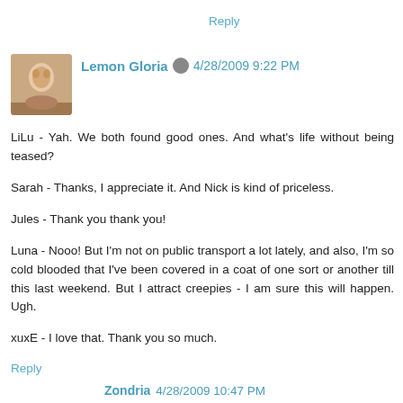Reply
Lemon Gloria  4/28/2009 9:22 PM
LiLu - Yah. We both found good ones. And what's life without being teased?

Sarah - Thanks, I appreciate it. And Nick is kind of priceless.

Jules - Thank you thank you!

Luna - Nooo! But I'm not on public transport a lot lately, and also, I'm so cold blooded that I've been covered in a coat of one sort or another till this last weekend. But I attract creepies - I am sure this will happen. Ugh.

xuxE - I love that. Thank you so much.
Reply
Zondria  4/28/2009 10:47 PM